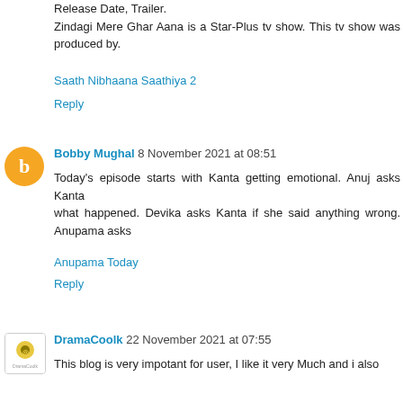Release Date, Trailer.
Zindagi Mere Ghar Aana is a Star-Plus tv show. This tv show was produced by.
Saath Nibhaana Saathiya 2
Reply
Bobby Mughal 8 November 2021 at 08:51
Today's episode starts with Kanta getting emotional. Anuj asks Kanta what happened. Devika asks Kanta if she said anything wrong. Anupama asks
Anupama Today
Reply
DramaCoolk 22 November 2021 at 07:55
This blog is very impotant for user, I like it very Much and i also